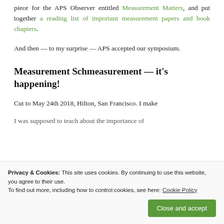piece for the APS Observer entitled Measurement Matters, and put together a reading list of important measurement papers and book chapters.
And then — to my surprise — APS accepted our symposium.
Measurement Schmeasurement — it's happening!
Cut to May 24th 2018, Hilton, San Francisco. I make
I was supposed to teach about the importance of
Privacy & Cookies: This site uses cookies. By continuing to use this website, you agree to their use.
To find out more, including how to control cookies, see here: Cookie Policy